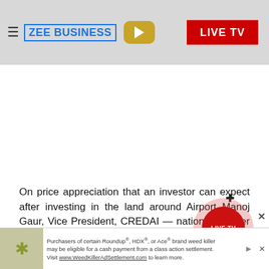ZEE BUSINESS | LIVE TV
[Figure (photo): White image placeholder area within article content area]
On price appreciation that an investor can expect after investing in the land around Airport Manoj Gaur, Vice President, CREDAI — national chapter told, "With the current development happening around... We are expecting a price hike in the land prices
[Figure (other): Floating LIVE TV button overlay (red circle with LIVE TV label) and move icon]
[Figure (other): Bottom advertisement bar: Roundup/HDX/Ace brand weed killer class action settlement ad with thumbnail image]